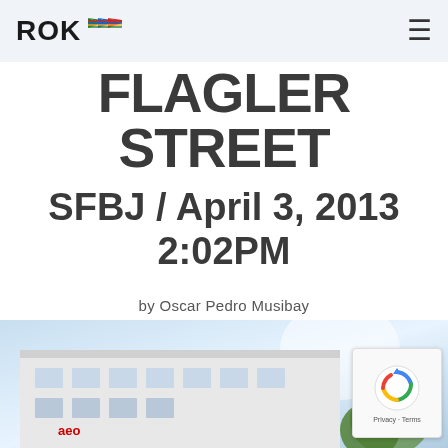ROK [logo with flags]
FLAGLER STREET
SFBJ / April 3, 2013 2:02PM
by Oscar Pedro Musibay
[Figure (photo): Partial view of a building exterior with blue sky background, partially cropped at bottom of page. A reCAPTCHA widget overlays the bottom right.]